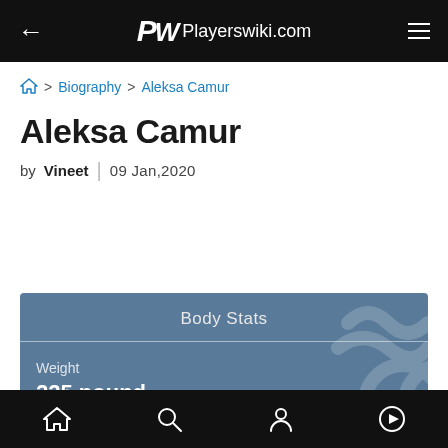PW Playerswiki.com
🏠 > Biography > Aleksa Camur
Aleksa Camur
by Vineet | 09 Jan,2020
Body Stats
Weight
225 pound
Home Search Profile Play